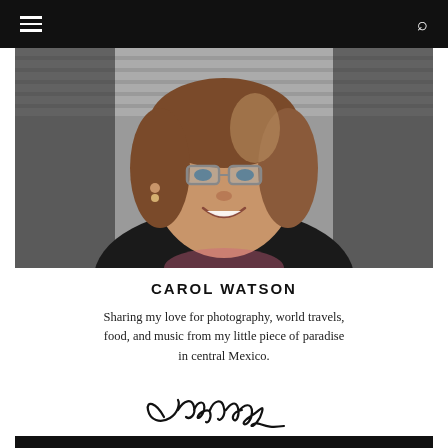[navigation bar with hamburger menu and search icon]
[Figure (photo): Portrait photo of Carol Watson, a woman with brown hair and glasses, smiling, wearing a dark jacket, with window blinds in the background]
CAROL WATSON
Sharing my love for photography, world travels, food, and music from my little piece of paradise in central Mexico.
[Figure (illustration): Handwritten cursive signature reading 'Cwatson']